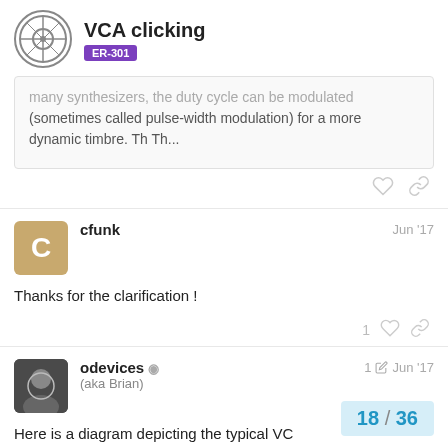VCA clicking | ER-301
many synthesizers, the duty cycle can be modulated (sometimes called pulse-width modulation) for a more dynamic timbre. Th Th...
cfunk  Jun '17
Thanks for the clarification !
odevices (aka Brian)  1  Jun '17
Here is a diagram depicting the typical VC...